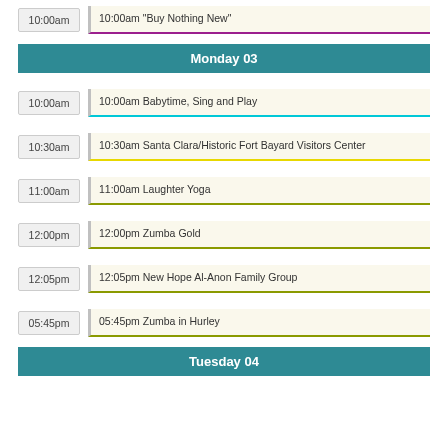10:00am "Buy Nothing New"
Monday 03
10:00am Babytime, Sing and Play
10:30am Santa Clara/Historic Fort Bayard Visitors Center
11:00am Laughter Yoga
12:00pm Zumba Gold
12:05pm New Hope Al-Anon Family Group
05:45pm Zumba in Hurley
Tuesday 04